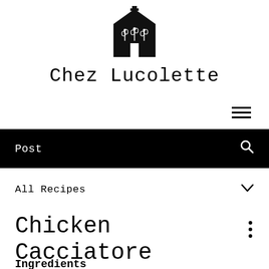[Figure (logo): Black illustrated house logo with plant/floral decorations inside, representing Chez Lucolette brand]
Chez Lucolette
Post
All Recipes
Chicken Cacciatore
Ingredients